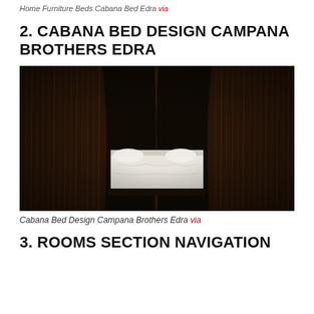Home Furniture Beds Cabana Bed Edra via
2. CABANA BED DESIGN CAMPANA BROTHERS EDRA
[Figure (photo): Dark atmospheric photo of the Cabana Bed by Campana Brothers for Edra. The bed features a four-poster canopy draped with dark shaggy/fibrous curtains hanging from the frame, surrounding a white-sheeted mattress. The overall scene is very dark with dramatic lighting highlighting the textured canopy walls.]
Cabana Bed Design Campana Brothers Edra via
3. ROOMS SECTION NAVIGATION